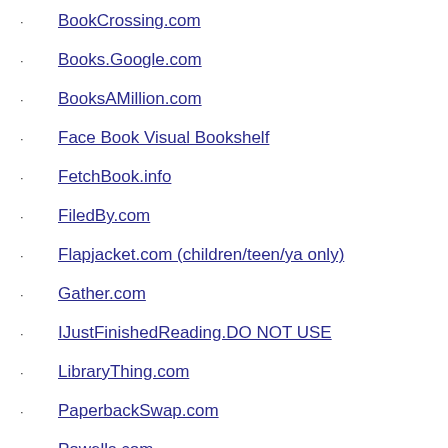BookCrossing.com
Books.Google.com
BooksAMillion.com
Face Book Visual Bookshelf
FetchBook.info
FiledBy.com
Flapjacket.com (children/teen/ya only)
Gather.com
IJustFinishedReading.DO NOT USE
LibraryThing.com
PaperbackSwap.com
Powells.com
Searchwarp.com